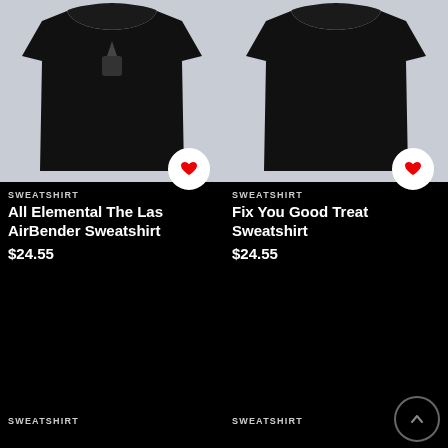[Figure (photo): Black sweatshirt with small logo on chest, displayed on white background, top-left product]
[Figure (photo): Black sweatshirt plain, displayed on white background, top-right product]
SWEATSHIRT
All Elemental The Las AirBender Sweatshirt
$24.55
SWEATSHIRT
Fix You Good Treat Sweatshirt
$24.55
[Figure (photo): Black area bottom-left product image mostly black/dark]
SWEATSHIRT
[Figure (photo): Black area bottom-right product image mostly black/dark]
SWEATSHIRT